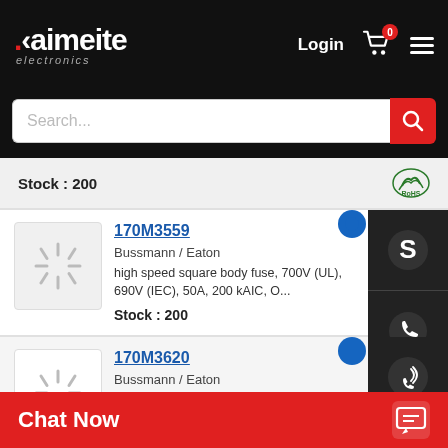[Figure (screenshot): Kaimeite electronics website header with logo, Login link, cart icon with badge 0, and hamburger menu on black background]
[Figure (screenshot): Search bar with placeholder text 'Search...' and red search button]
Stock : 200
[Figure (logo): RoHS green leaf compliance badge]
170M3559
Bussmann / Eaton
high speed square body fuse, 700V (UL), 690V (IEC), 50A, 200 kAIC, O...
Stock : 200
170M3620
Bussmann / Eaton
high speed (IEC), 450...
Chat Now